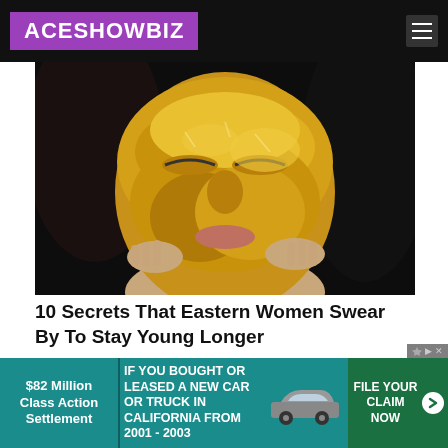ACESHOWBIZ
[Figure (photo): Woman applying a gold leaf face mask against a dark background, eyes closed, hands touching cheeks]
10 Secrets That Eastern Women Swear By To Stay Young Longer
Herbeauty
[Figure (infographic): Advertisement: $82 Million Class Action Settlement — IF YOU BOUGHT OR LEASED A NEW CAR OR TRUCK IN CALIFORNIA FROM 2001 - 2003 — FILE YOUR CLAIM NOW]